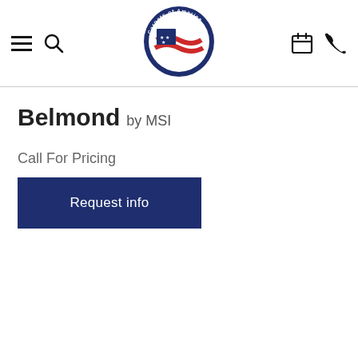Carpets of America – navigation header with hamburger menu, search, logo, calendar, and phone icons
Belmond by MSI
Call For Pricing
Request info